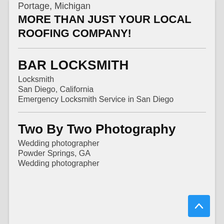Portage, Michigan
MORE THAN JUST YOUR LOCAL ROOFING COMPANY!
BAR LOCKSMITH
Locksmith
San Diego, California
Emergency Locksmith Service in San Diego
Two By Two Photography
Wedding photographer
Powder Springs, GA
Wedding photographer